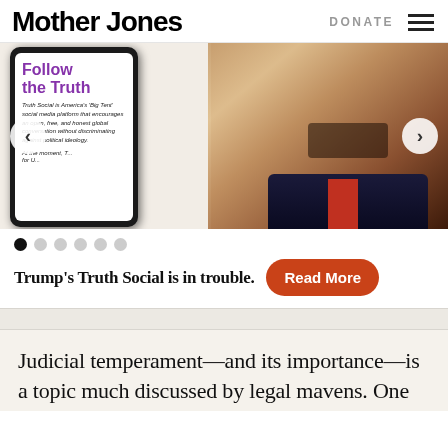Mother Jones | DONATE
[Figure (screenshot): Slideshow carousel showing Truth Social app screen on phone alongside image of Trump speaking, with Follow the Truth text visible. Navigation arrows on sides.]
Trump's Truth Social is in trouble.
Judicial temperament—and its importance—is a topic much discussed by legal mavens. One